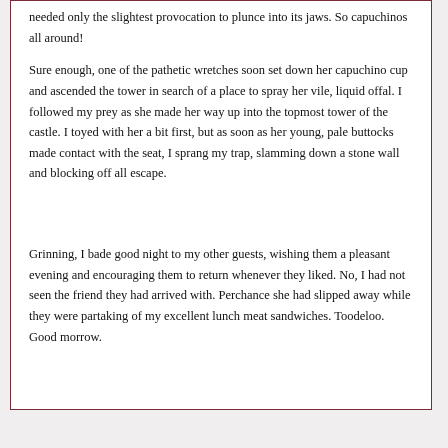needed only the slightest provocation to plunce into its jaws. So capuchinos all around!
Sure enough, one of the pathetic wretches soon set down her capuchino cup and ascended the tower in search of a place to spray her vile, liquid offal. I followed my prey as she made her way up into the topmost tower of the castle. I toyed with her a bit first, but as soon as her young, pale buttocks made contact with the seat, I sprang my trap, slamming down a stone wall and blocking off all escape.
Grinning, I bade good night to my other guests, wishing them a pleasant evening and encouraging them to return whenever they liked. No, I had not seen the friend they had arrived with. Perchance she had slipped away while they were partaking of my excellent lunch meat sandwiches. Toodeloo. Good morrow.